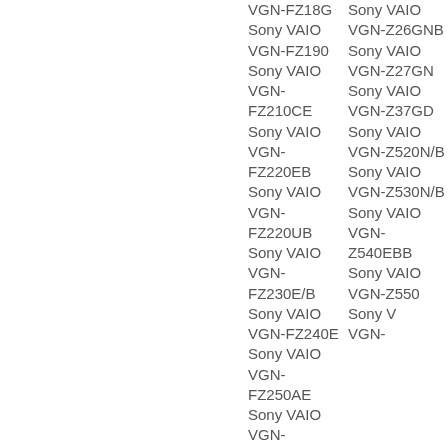VGN-FZ18G
Sony VAIO VGN-FZ190
Sony VAIO VGN-FZ210CE
Sony VAIO VGN-FZ220EB
Sony VAIO VGN-FZ220UB
Sony VAIO VGN-FZ230E/B
Sony VAIO VGN-FZ240E
Sony VAIO VGN-FZ250AE
Sony VAIO VGN-
Sony VAIO VGN-Z26GNB
Sony VAIO VGN-Z27GN
Sony VAIO VGN-Z37GD
Sony VAIO VGN-Z520N/B
Sony VAIO VGN-Z530N/B
Sony VAIO VGN-Z540EBB
Sony VAIO VGN-Z550
Sony VAIO VGN-